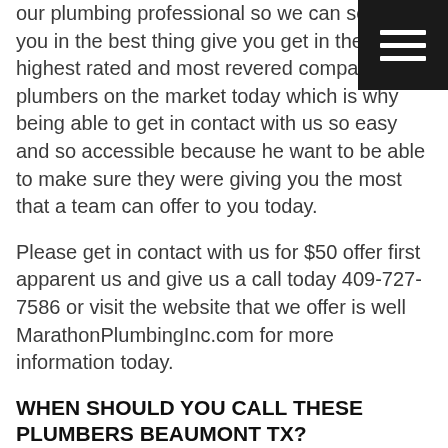our plumbing professional so we can serve you in the best thing give you get in the highest rated and most revered company with plumbers on the market today which is why being able to get in contact with us so easy and so accessible because he want to be able to make sure they were giving you the most that a team can offer to you today.
[Figure (other): Dark hamburger menu button icon with three white horizontal lines on a black square background, positioned top-right]
Please get in contact with us for $50 offer first apparent us and give us a call today 409-727-7586 or visit the website that we offer is well MarathonPlumbingInc.com for more information today.
WHEN SHOULD YOU CALL THESE PLUMBERS BEAUMONT TX?
If you have any questions regarding plumbers Beaumont TX and you should give us a call you should speak to our professionals here Marathon Plumbing. We are gonna be able to give the services that are customizable but also team in a company that's going to strive to put you before anything else when it comes to getting the top team top company which is why